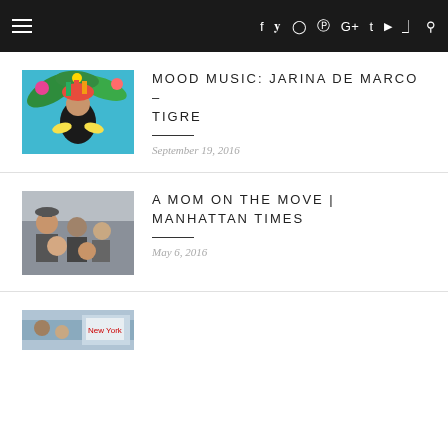Navigation header with hamburger menu and social icons: f, twitter, instagram, pinterest, G+, t, youtube, rss, search
MOOD MUSIC: JARINA DE MARCO – TIGRE
September 19, 2016
A MOM ON THE MOVE | MANHATTAN TIMES
May 6, 2016